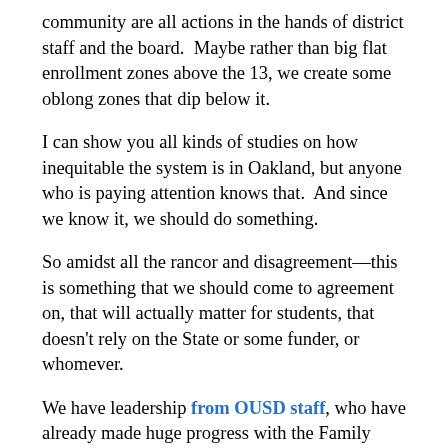community are all actions in the hands of district staff and the board.  Maybe rather than big flat enrollment zones above the 13, we create some oblong zones that dip below it.
I can show you all kinds of studies on how inequitable the system is in Oakland, but anyone who is paying attention knows that.  And since we know it, we should do something.
So amidst all the rancor and disagreement—this is something that we should come to agreement on, that will actually matter for students, that doesn't rely on the State or some funder, or whomever.
We have leadership from OUSD staff, who have already made huge progress with the Family Welcome Center, our Board Chair James Harris has also led on this issue.  So now it's time to go out